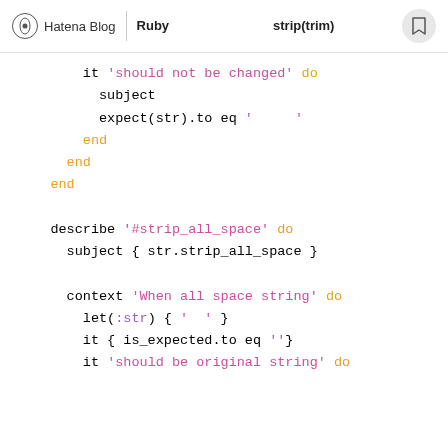Hatena Blog | Ruby　　　　　　　　strip(trim)
[Figure (screenshot): Ruby code snippet showing RSpec tests for strip_all_space method with context blocks, subject, let, it, expect, and describe blocks. Code uses syntax highlighting with orange keywords, pink/purple strings.]